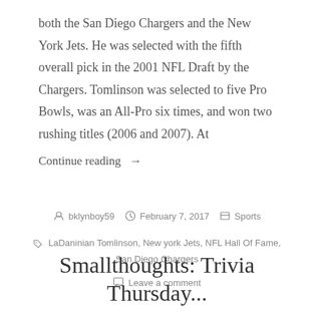both the San Diego Chargers and the New York Jets. He was selected with the fifth overall pick in the 2001 NFL Draft by the Chargers. Tomlinson was selected to five Pro Bowls, was an All-Pro six times, and won two rushing titles (2006 and 2007). At
Continue reading →
bklynboy59  February 7, 2017  Sports
LaDaninian Tomlinson, New york Jets, NFL Hall Of Fame, San Diego Chargers
Leave a comment
Smallthoughts: Trivia Thursday...